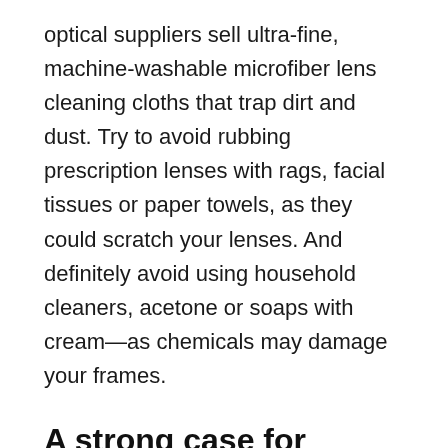optical suppliers sell ultra-fine, machine-washable microfiber lens cleaning cloths that trap dirt and dust. Try to avoid rubbing prescription lenses with rags, facial tissues or paper towels, as they could scratch your lenses. And definitely avoid using household cleaners, acetone or soaps with cream—as chemicals may damage your frames.
A strong case for storage
Storing your lenses in a sturdy protective case whenever you are not wearing them will go a long way towards preventing scratches on your lenses. Proper storage also helps to keep prescription eyeglass lenses clean while protecting your valuable frames. Never place prescription glasses in a purse,